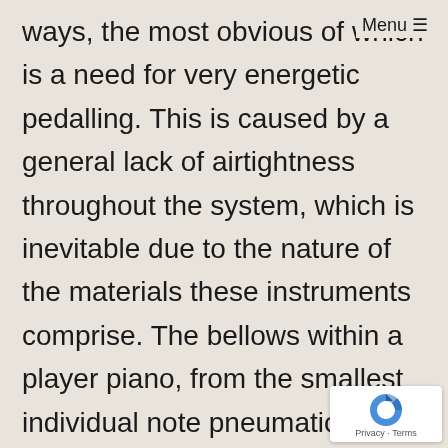ways, the most obvious of which is a need for very energetic pedalling. This is caused by a general lack of airtightness throughout the system, which is inevitable due to the nature of the materials these instruments comprise. The bellows within a player piano, from the smallest individual note pneumatics, through to the main exhauster, are all covered with rubberised cotton cloth* As the rubber perishes, the cloth no only becomes porous but also resists
Menu ≡
[Figure (other): reCAPTCHA badge with spinning arrow logo and Privacy · Terms text]